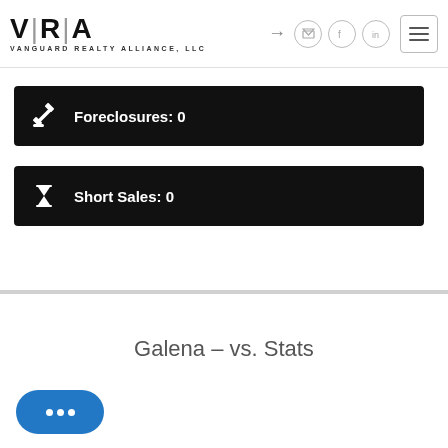[Figure (logo): Vanguard Realty Alliance LLC logo with VRA text and navigation icons]
Foreclosures: 0
Short Sales: 0
Galena – vs. Stats